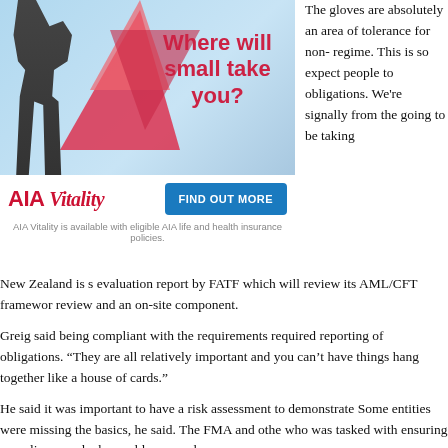[Figure (illustration): AIA Vitality advertisement with tagline 'Where will small take you?' showing a person wearing a back brace/support, with geometric pink/red diamond shapes on a light blue background, AIA Vitality logo, FIND OUT MORE button, and disclaimer text.]
The gloves are absolutely an area of tolerance for non- regime. This is so expect people to obligations. We're signally from the going to be taking
New Zealand is s evaluation report by FATF which will review its AML/CFT framewor review and an on-site component.
Greig said being compliant with the requirements required reporting of obligations. “They are all relatively important and you can’t have things hang together like a house of cards.”
He said it was important to have a risk assessment to demonstrate Some entities were missing the basics, he said. The FMA and othe who was tasked with ensuring compliance and who could answer d processes.
“We want to know who has their eye on the ball.”
Compliance assessment programmes had been a weakness. Craig